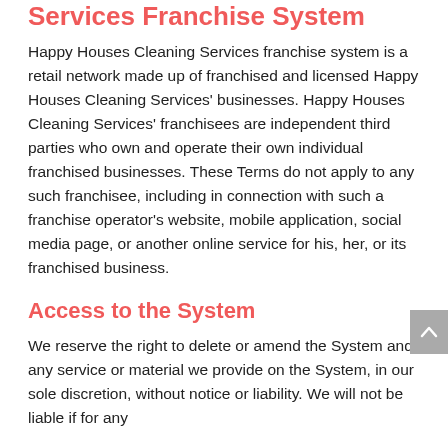Services Franchise System
Happy Houses Cleaning Services franchise system is a retail network made up of franchised and licensed Happy Houses Cleaning Services' businesses. Happy Houses Cleaning Services' franchisees are independent third parties who own and operate their own individual franchised businesses. These Terms do not apply to any such franchisee, including in connection with such a franchise operator's website, mobile application, social media page, or another online service for his, her, or its franchised business.
Access to the System
We reserve the right to delete or amend the System and any service or material we provide on the System, in our sole discretion, without notice or liability. We will not be liable if for any